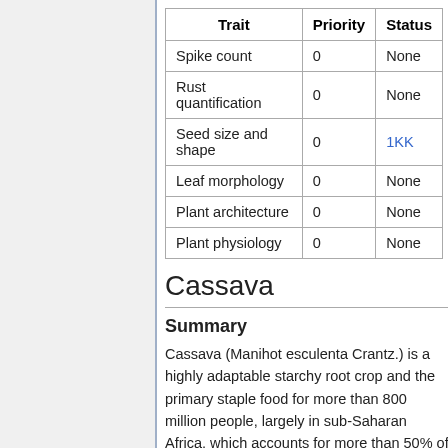| Trait | Priority | Status |
| --- | --- | --- |
| Spike count | 0 | None |
| Rust quantification | 0 | None |
| Seed size and shape | 0 | 1KK |
| Leaf morphology | 0 | None |
| Plant architecture | 0 | None |
| Plant physiology | 0 | None |
Cassava
Summary
Cassava (Manihot esculenta Crantz.) is a highly adaptable starchy root crop and the primary staple food for more than 800 million people, largely in sub-Saharan Africa, which accounts for more than 50% of the total cassava production globally. This clonally propagated crop is